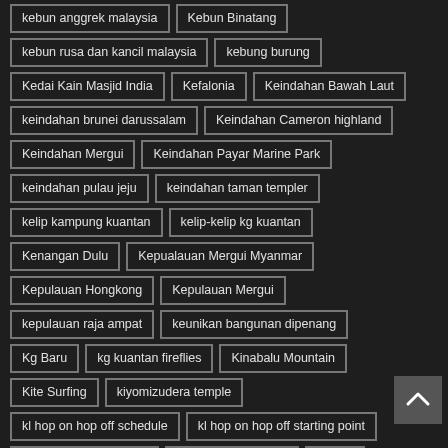kebun anggrek malaysia
Kebun Binatang
kebun rusa dan kancil malaysia
kebung burung
Kedai Kain Masjid India
Kefalonia
Keindahan Bawah Laut
keindahan brunei darussalam
Keindahan Cameron highland
Keindahan Mergui
Keindahan Payar Marine Park
keindahan pulau jeju
keindahan taman templer
kelip kampung kuantan
kelip-kelip kg kuantan
Kenangan Dulu
Kepualauan Mergui Myanmar
Kepulauan Hongkong
Kepulauan Mergui
kepulauan raja ampat
keunikan bangunan dipenang
Kg Baru
kg kuantan fireflies
Kinabalu Mountain
Kite Surfing
kiyomizudera temple
kl hop on hop off schedule
kl hop on hop off starting point
kl hop on hop off ticket
KLCC Park for child
KLIA 2
Komodo Island
Korea Cycle Trip
Korea destination